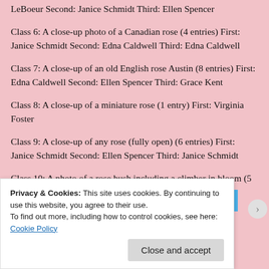LeBoeur Second: Janice Schmidt Third: Ellen Spencer
Class 6: A close-up photo of a Canadian rose (4 entries) First: Janice Schmidt Second: Edna Caldwell Third: Edna Caldwell
Class 7: A close-up of an old English rose Austin (8 entries) First: Edna Caldwell Second: Ellen Spencer Third: Grace Kent
Class 8: A close-up of a miniature rose (1 entry) First: Virginia Foster
Class 9: A close-up of any rose (fully open) (6 entries) First: Janice Schmidt Second: Ellen Spencer Third: Janice Schmidt
Class 10: A photo of a rose bush including a climber in bloom (5 entries) First: Ellen Spencer Second: Edna Caldwell Third: Edna Caldwell Number or entries 53, 2018
[Figure (photo): Partial image strip showing blue navigation elements and a photograph]
Privacy & Cookies: This site uses cookies. By continuing to use this website, you agree to their use.
To find out more, including how to control cookies, see here: Cookie Policy
Close and accept